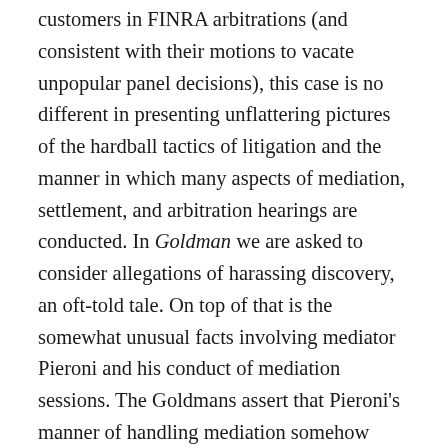customers in FINRA arbitrations (and consistent with their motions to vacate unpopular panel decisions), this case is no different in presenting unflattering pictures of the hardball tactics of litigation and the manner in which many aspects of mediation, settlement, and arbitration hearings are conducted. In Goldman we are asked to consider allegations of harassing discovery, an oft-told tale. On top of that is the somewhat unusual facts involving mediator Pieroni and his conduct of mediation sessions. The Goldmans assert that Pieroni's manner of handling mediation somehow provided CGMI with beneficial information. On top of that, the FINRA Arbitration Chair is charged with having some "undisclosed relationship" with Pieroni that breached FINRA's rules, whatever that might mean. Finally, as is often the case when moving to vacate, the core complaint is that the Panel is about it an untold able of failing to me the